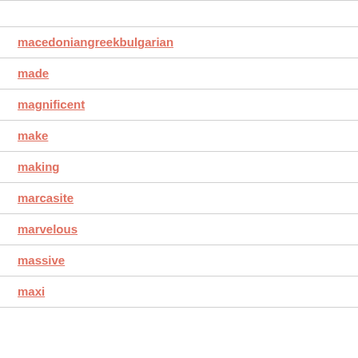macedoniangreekbulgarian
made
magnificent
make
making
marcasite
marvelous
massive
maxi